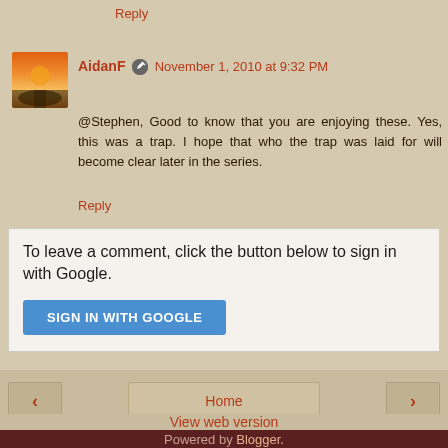Reply
AidanF  November 1, 2010 at 9:32 PM
@Stephen, Good to know that you are enjoying these. Yes, this was a trap. I hope that who the trap was laid for will become clear later in the series.
Reply
To leave a comment, click the button below to sign in with Google.
SIGN IN WITH GOOGLE
Home
View web version
Powered by Blogger.